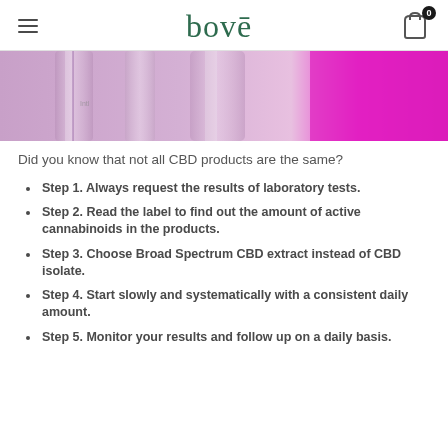bovē
[Figure (photo): Close-up photo of laboratory glassware with pink/magenta and purple tones, showing glass flasks or beakers in a lab setting]
Did you know that not all CBD products are the same?
Step 1. Always request the results of laboratory tests.
Step 2. Read the label to find out the amount of active cannabinoids in the products.
Step 3. Choose Broad Spectrum CBD extract instead of CBD isolate.
Step 4. Start slowly and systematically with a consistent daily amount.
Step 5. Monitor your results and follow up on a daily basis.